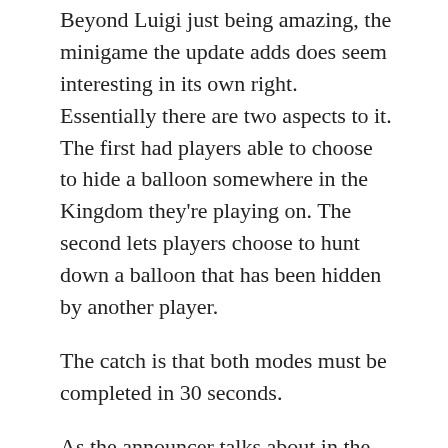Beyond Luigi just being amazing, the minigame the update adds does seem interesting in its own right. Essentially there are two aspects to it. The first had players able to choose to hide a balloon somewhere in the Kingdom they're playing on. The second lets players choose to hunt down a balloon that has been hidden by another player.
The catch is that both modes must be completed in 30 seconds.
As the announcer talks about in the Direct, this encourages a speedrun-centric style of gameplay where the players who know the most about the map around them can create the best hiding places that might be hard for more casual players to reach. It's a really interesting way to approach Odyssey that I never would have considered implementing, but one that also feels